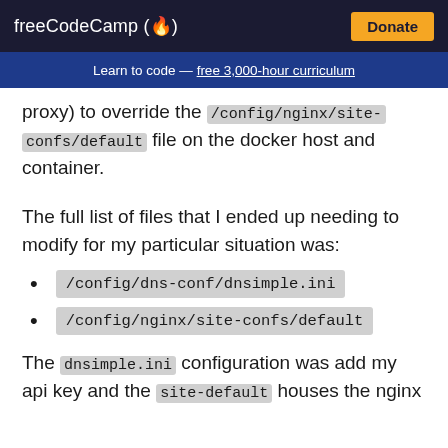freeCodeCamp(🔥)  Donate
Learn to code — free 3,000-hour curriculum
proxy) to override the /config/nginx/site-confs/default file on the docker host and container.
The full list of files that I ended up needing to modify for my particular situation was:
/config/dns-conf/dnsimple.ini
/config/nginx/site-confs/default
The dnsimple.ini configuration was add my api key and the site-default houses the nginx